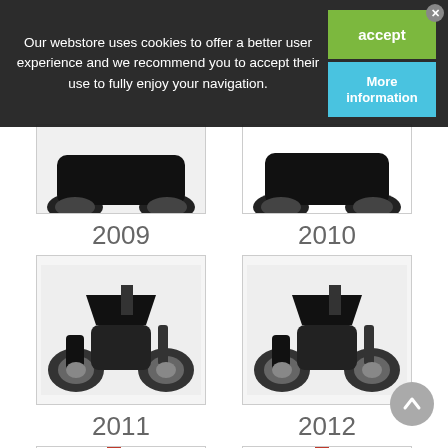Our webstore uses cookies to offer a better user experience and we recommend you to accept their use to fully enjoy your navigation.
[Figure (photo): Motorcycle image for year 2009 (partial, top cropped)]
[Figure (photo): Motorcycle image for year 2010 (partial, top cropped)]
2009
2010
[Figure (photo): Black Honda motorcycle for year 2011, side view]
[Figure (photo): Black Honda motorcycle for year 2012, side view]
2011
2012
[Figure (photo): Red motorcycle for year 2013 (partial bottom), side view]
[Figure (photo): Red motorcycle for year 2014 (partial bottom), side view]